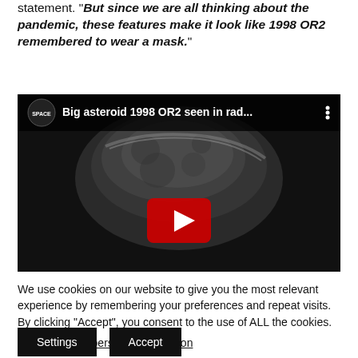statement. "But since we are all thinking about the pandemic, these features make it look like 1998 OR2 remembered to wear a mask."
[Figure (screenshot): YouTube video embed showing 'Big asteroid 1998 OR2 seen in rad...' with SPACE logo and play button over a radar image of the asteroid]
We use cookies on our website to give you the most relevant experience by remembering your preferences and repeat visits. By clicking “Accept”, you consent to the use of ALL the cookies.
Do not sell my personal information.
Settings   Accept